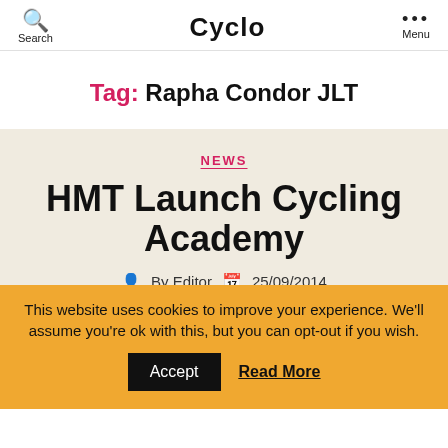Search | Cyclo | Menu
Tag: Rapha Condor JLT
NEWS
HMT Launch Cycling Academy
By Editor  25/09/2014
This website uses cookies to improve your experience. We'll assume you're ok with this, but you can opt-out if you wish.
Accept   Read More